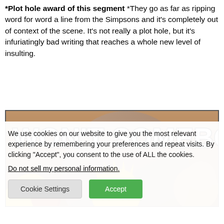*Plot hole award of this segment *They go as far as ripping word for word a line from the Simpsons and it's completely out of context of the scene. It's not really a plot hole, but it's infuriatingly bad writing that reaches a whole new level of insulting.
[Figure (illustration): Meme image with bold white Impact-font text reading 'WON'T SOMEBODY PLEASE' over a Simpsons cartoon scene showing animated characters with yellow hair.]
We use cookies on our website to give you the most relevant experience by remembering your preferences and repeat visits. By clicking "Accept", you consent to the use of ALL the cookies.
Do not sell my personal information.